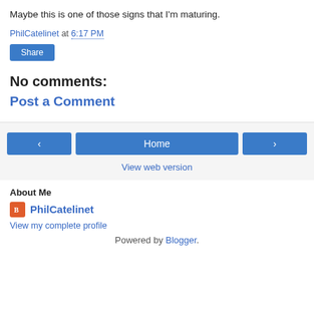Maybe this is one of those signs that I'm maturing.
PhilCatelinet at 6:17 PM
Share
No comments:
Post a Comment
‹  Home  ›
View web version
About Me
PhilCatelinet
View my complete profile
Powered by Blogger.